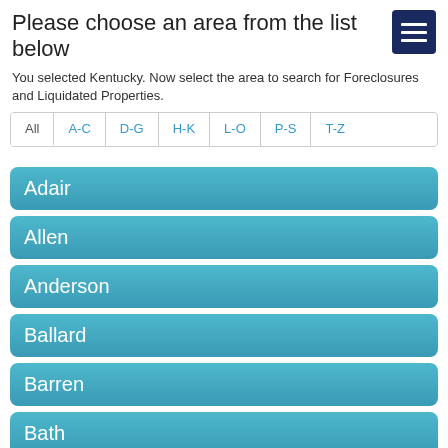Please choose an area from the list below
You selected Kentucky. Now select the area to search for Foreclosures and Liquidated Properties.
All
A-C
D-G
H-K
L-O
P-S
T-Z
Adair
Allen
Anderson
Ballard
Barren
Bath